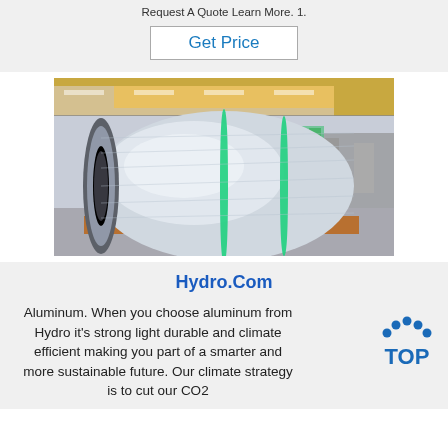Request A Quote Learn More. 1.
Get Price
[Figure (photo): Large aluminum coil/roll on a wooden pallet in an industrial warehouse/factory setting. The coil is silver/metallic with two green strapping bands. A label '638/2308' is visible on the pallet. The factory background shows overhead cranes and fluorescent lighting.]
Hydro.Com
Aluminum. When you choose aluminum from Hydro it's strong light durable and climate efficient making you part of a smarter and more sustainable future. Our climate strategy is to cut our CO2
[Figure (logo): TOP logo with dots arranged in an arc above the letters TOP in blue]